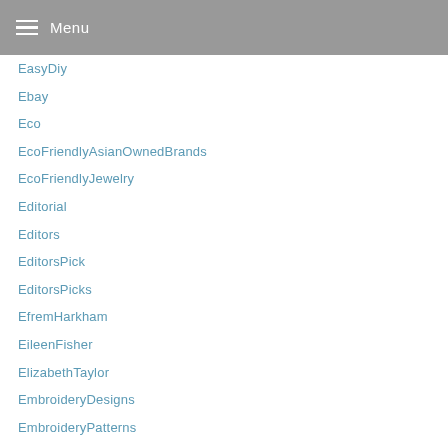Menu
EasyDiy
Ebay
Eco
EcoFriendlyAsianOwnedBrands
EcoFriendlyJewelry
Editorial
Editors
EditorsPick
EditorsPicks
EfremHarkham
EileenFisher
ElizabethTaylor
EmbroideryDesigns
EmbroideryPatterns
English
EnglishDrape
Entertaining